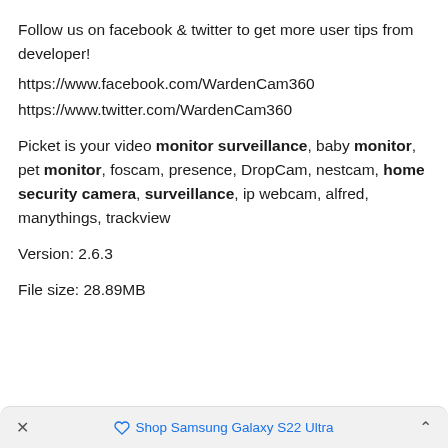Follow us on facebook & twitter to get more user tips from developer!
https://www.facebook.com/WardenCam360
https://www.twitter.com/WardenCam360
Picket is your video monitor surveillance, baby monitor, pet monitor, foscam, presence, DropCam, nestcam, home security camera, surveillance, ip webcam, alfred, manythings, trackview
Version: 2.6.3
File size: 28.89MB
× Shop Samsung Galaxy S22 Ultra ^